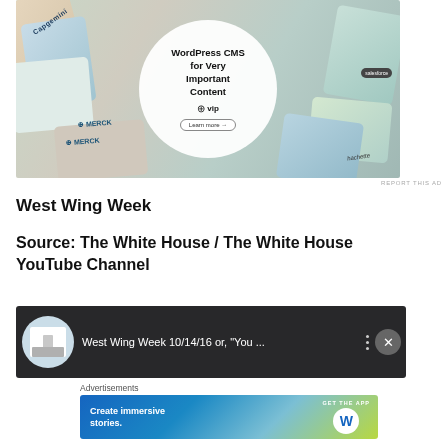[Figure (photo): WordPress VIP advertisement showing overlapping cards with brand logos (Capgemini, Merck, Salesforce, Hachette) and a white circle overlay with text 'WordPress CMS for Very Important Content' and WP VIP logo with Learn more button]
REPORT THIS AD
West Wing Week
Source:  The White House / The White House YouTube Channel
[Figure (screenshot): Video thumbnail showing White House icon, text 'West Wing Week 10/14/16 or, "You ...' on dark background with menu dots and close button]
Advertisements
[Figure (photo): WordPress advertisement with blue-green gradient background, text 'Create immersive stories.' with GET THE APP button and WordPress logo circle]